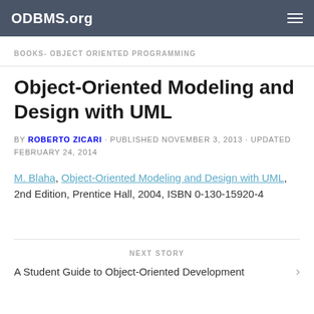ODBMS.org
BOOKS- OBJECT ORIENTED PROGRAMMING
Object-Oriented Modeling and Design with UML
BY ROBERTO ZICARI · PUBLISHED NOVEMBER 3, 2013 · UPDATED FEBRUARY 24, 2014
M. Blaha, Object-Oriented Modeling and Design with UML, 2nd Edition, Prentice Hall, 2004, ISBN 0-130-15920-4
NEXT STORY
A Student Guide to Object-Oriented Development